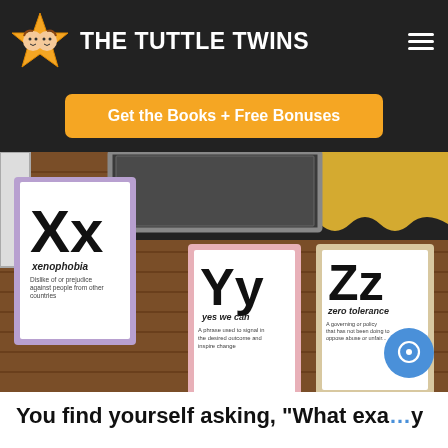THE TUTTLE TWINS
Get the Books + Free Bonuses
[Figure (photo): Classroom wall with alphabet cards showing Xx (xenophobia), Yy (yes we can), and Zz (zero tolerance) mounted on a brick wall, with a yellow bulletin board and chalkboard visible at top.]
You find yourself asking, “What exa…y